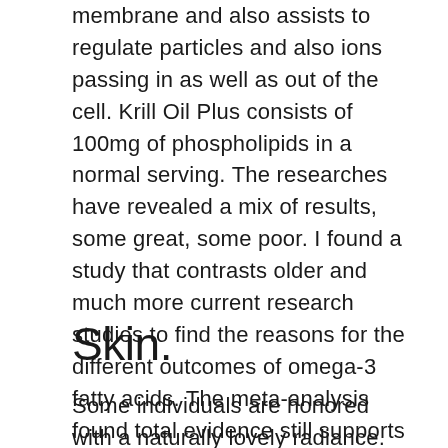membrane and also assists to regulate particles and also ions passing in as well as out of the cell. Krill Oil Plus consists of 100mg of phospholipids in a normal serving. The researches have revealed a mix of results, some great, some poor. I found a study that contrasts older and much more current research studies to find the reasons for the different outcomes of omega-3 fatty acids. The meta-analysis found total evidence still supports the American Heart Organization's suggestion of having 2 portions of fatty fish each week.3.
Skin.
Some individuals are honored with a naturally lovely radiance. For the remainder